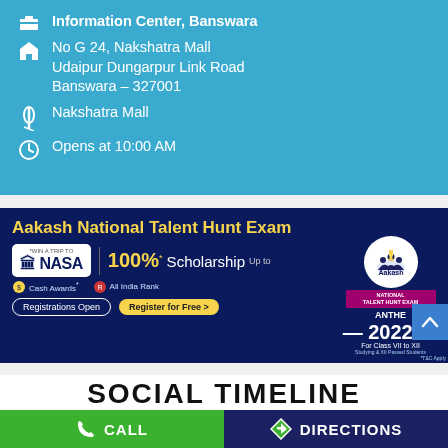Information Center, Banswara
No G 24, Nakshatra Mall
Udaipur Dungarpur Link Road
Banswara – 327001
Nakshatra Mall
Opens at 10:00 AM
[Figure (advertisement): Aakash National Talent Hunt Exam advertisement. Win a trip to NASA. Up to 100% Scholarship. Cash Awards. All India Rank. Registrations Open. Register for Free. ANTHE 2022. For Class VII to XII.]
SOCIAL TIMELINE
CALL
DIRECTIONS